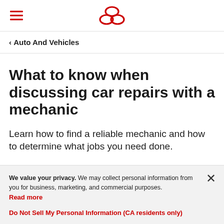[Hamburger menu icon] [Logo: three red ovals]
< Auto And Vehicles
What to know when discussing car repairs with a mechanic
Learn how to find a reliable mechanic and how to determine what jobs you need done.
We value your privacy. We may collect personal information from you for business, marketing, and commercial purposes. Read more
Do Not Sell My Personal Information (CA residents only)